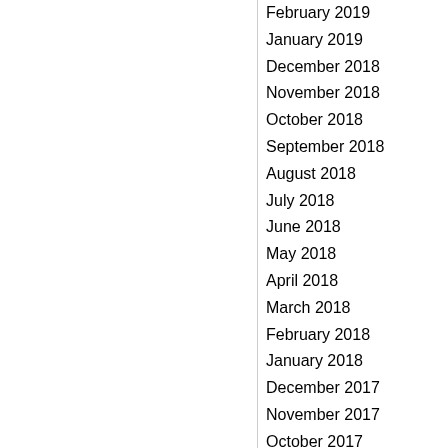February 2019
January 2019
December 2018
November 2018
October 2018
September 2018
August 2018
July 2018
June 2018
May 2018
April 2018
March 2018
February 2018
January 2018
December 2017
November 2017
October 2017
September 2017
August 2017
July 2017
June 2017
May 2017
April 2017
March 2017
February 2017
January 2017
December 2016
November 2016
October 2016